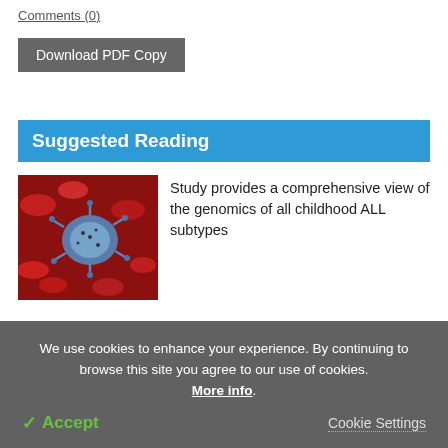Comments (0)
Download PDF Copy
Suggested Reading
[Figure (photo): Microscopic illustration of blood cells and a virus/pathogen in red and blue tones]
Study provides a comprehensive view of the genomics of all childhood ALL subtypes
[Figure (photo): Close-up photo of a gloved hand holding a vial or sample, blue tones]
Using deep learning to guide the
We use cookies to enhance your experience. By continuing to browse this site you agree to our use of cookies. More info.
✓ Accept
Cookie Settings